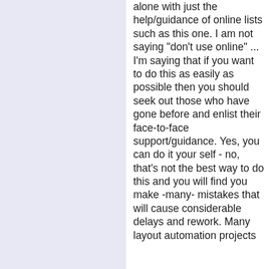alone with just the help/guidance of online lists such as this one. I am not saying "don't use online" ... I'm saying that if you want to do this as easily as possible then you should seek out those who have gone before and enlist their face-to-face support/guidance. Yes, you can do it your self - no, that's not the best way to do this and you will find you make -many- mistakes that will cause considerable delays and rework. Many layout automation projects